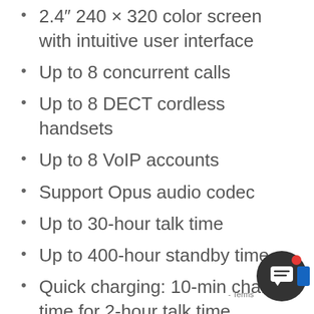2.4″ 240 × 320 color screen with intuitive user interface
Up to 8 concurrent calls
Up to 8 DECT cordless handsets
Up to 8 VoIP accounts
Support Opus audio codec
Up to 30-hour talk time
Up to 400-hour standby time
Quick charging: 10-min charge time for 2-hour talk time
TLS and SRTP security encryption
Noise Reduction System